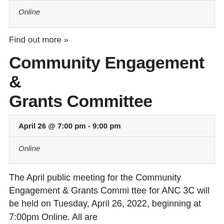Online
Find out more »
Community Engagement & Grants Committee
| April 26 @ 7:00 pm - 9:00 pm |
| Online |
The April public meeting for the Community Engagement & Grants Committee for ANC 3C will be held on Tuesday, April 26, 2022, beginning at 7:00pm Online. All are